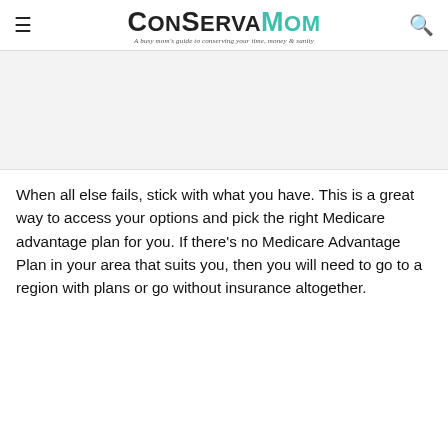ConservaMom — A busy mom's guide to conserving your time, money & sanity
[Figure (other): Advertisement or image placeholder area]
When all else fails, stick with what you have. This is a great way to access your options and pick the right Medicare advantage plan for you. If there's no Medicare Advantage Plan in your area that suits you, then you will need to go to a region with plans or go without insurance altogether.